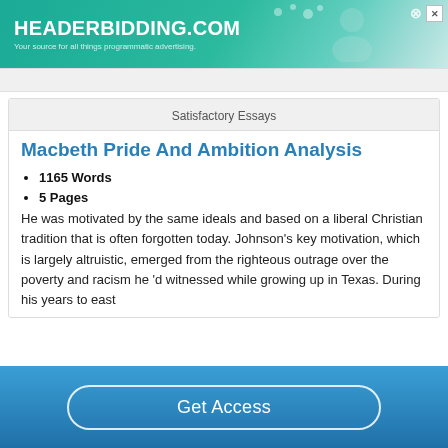[Figure (screenshot): HEADERBIDDING.COM advertisement banner with teal/green gradient background and close button]
Satisfactory Essays
Macbeth Pride And Ambition Analysis
1165 Words
5 Pages
He was motivated by the same ideals and based on a liberal Christian tradition that is often forgotten today. Johnson's key motivation, which is largely altruistic, emerged from the righteous outrage over the poverty and racism he 'd witnessed while growing up in Texas. During his years to east
Get Access